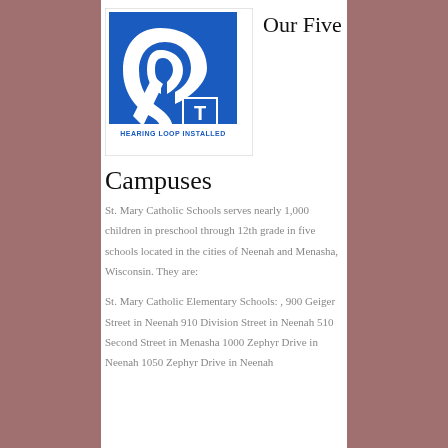[Figure (logo): Hearing loop installed sign — blue square with white ear icon and T symbol, text 'HEARING LOOP INSTALLED' at bottom in blue on white strip]
Our Five
Campuses
St. Mary Catholic Schools serves nearly 1,000 children in preschool through 12th grade in five schools located in the cities of Neenah and Menasha, Wisconsin. They are:
St. Mary Catholic Elementary Schools: , 900 Geiger Street in Neenah 910 Division Street in Neenah 510 Second Street in Menasha 1000 Zephyr Drive in Neenah 1050 Zephyr Drive in Neenah